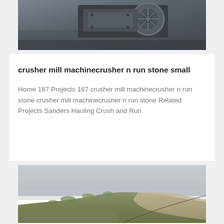[Figure (photo): Close-up photo of a crusher mill machine component, showing mechanical parts including what appears to be a flywheel or pulley mechanism on a concrete or stone surface, viewed from above.]
crusher mill machinecrusher n run stone small
Home 187 Projects 187 crusher mill machinecrusher n run stone crusher mill machinecrusher n run stone Related Projects Sanders Hauling Crush and Run
[Figure (photo): Outdoor landscape photo showing a hillside or quarry site with rocky terrain and sparse vegetation, under an overcast grey sky. The hill appears to have exposed rock and earth with some green scrubby plants.]